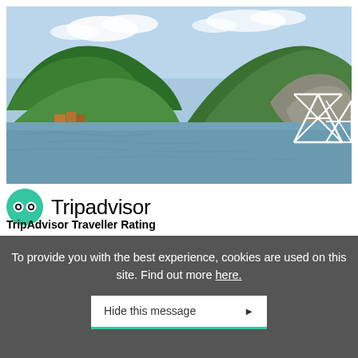[Figure (photo): Scenic photograph of a Norwegian fjord or coastal area with green forested hills, rocky shoreline, calm blue water, and a white triangular frame structure on the right side. Small buildings visible on the left shore.]
[Figure (logo): TripAdvisor logo: green circle with two white owl-eye shapes, followed by the text 'Tripadvisor' in black.]
TripAdvisor Traveller Rating
To provide you with the best experience, cookies are used on this site. Find out more here.
Hide this message ▶